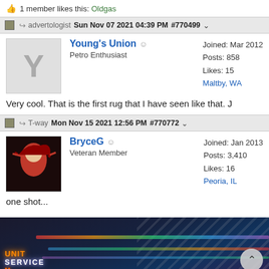👍 1 member likes this: Oldgas
advertologist  Sun Nov 07 2021 04:39 PM  #770499
Young's Union
Petro Enthusiast
Joined: Mar 2012
Posts: 858
Likes: 15
Maltby, WA
Very cool. That is the first rug that I have seen like that. J
T-way  Mon Nov 15 2021 12:56 PM  #770772
BryceG
Veteran Member
Joined: Jan 2013
Posts: 3,410
Likes: 16
Peoria, IL
one shot...
[Figure (photo): Neon sign showing UNITED SERVICE with colorful neon lights inside a building with striped ceiling]